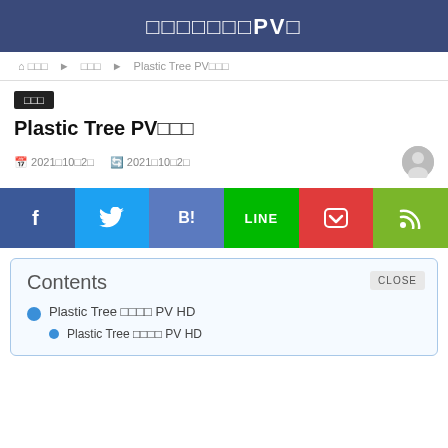□□□□□□□PV□
🏠□□□ ▶ □□□ ▶ Plastic Tree PV□□□
□□□
Plastic Tree PV□□□
📅 2021□10□2□  🔄 2021□10□2□
[Figure (infographic): Social share buttons: Facebook, Twitter, Hatena Bookmark, LINE, Pocket, RSS]
Contents  CLOSE
Plastic Tree □□□□ PV HD
Plastic Tree □□□□ PV HD